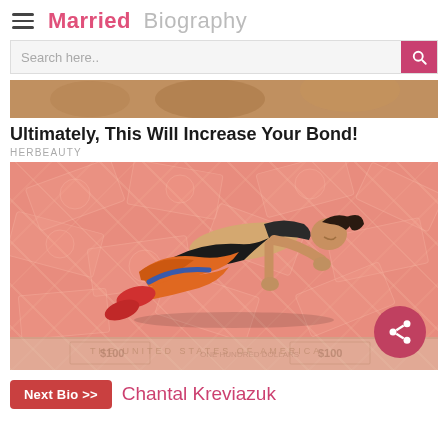Married Biography
[Figure (screenshot): Search bar with pink search button]
[Figure (photo): Partial top image — background lifestyle photo cropped at top]
Ultimately, This Will Increase Your Bond!
HERBEAUTY
[Figure (photo): Woman in workout clothes doing a plank/push-up exercise with resistance band, on top of dollar bills background with salmon/coral-colored money pattern overlay. Share button (pink circle with share icon) in bottom-right corner.]
Next Bio >> Chantal Kreviazuk